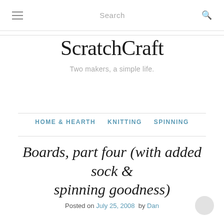≡  Search  🔍
ScratchCraft
Two makers, a simple life.
HOME & HEARTH  KNITTING  SPINNING
Boards, part four (with added sock & spinning goodness)
Posted on July 25, 2008  by Dan